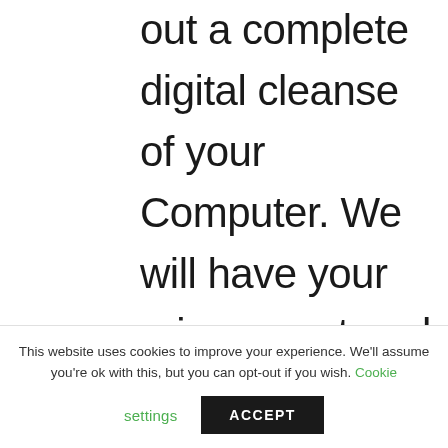out a complete digital cleanse of your Computer. We will have your privacy restored sooner than you think and our prices are the most
This website uses cookies to improve your experience. We'll assume you're ok with this, but you can opt-out if you wish. Cookie settings ACCEPT